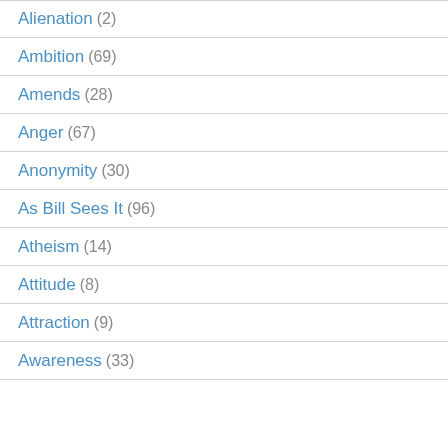Alienation (2)
Ambition (69)
Amends (28)
Anger (67)
Anonymity (30)
As Bill Sees It (96)
Atheism (14)
Attitude (8)
Attraction (9)
Awareness (33)